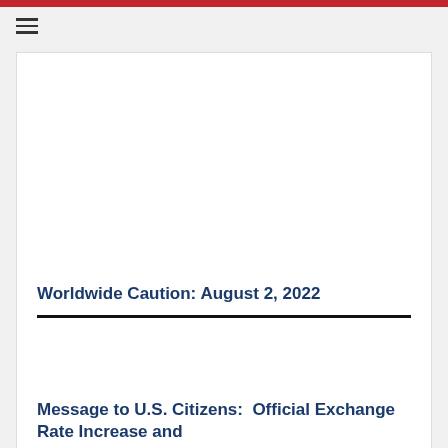Worldwide Caution: August 2, 2022
Message to U.S. Citizens:  Official Exchange Rate Increase and